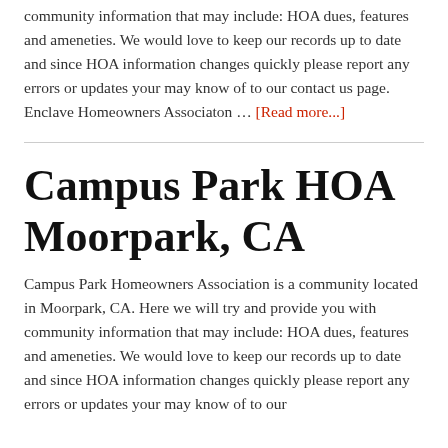community information that may include: HOA dues, features and ameneties. We would love to keep our records up to date and since HOA information changes quickly please report any errors or updates your may know of to our contact us page. Enclave Homeowners Associaton … [Read more...]
Campus Park HOA Moorpark, CA
Campus Park Homeowners Association is a community located in Moorpark, CA. Here we will try and provide you with community information that may include: HOA dues, features and ameneties. We would love to keep our records up to date and since HOA information changes quickly please report any errors or updates your may know of to our